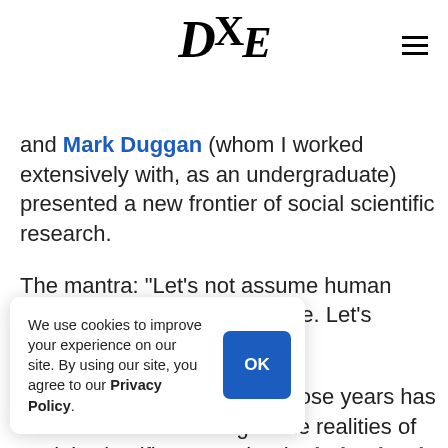DCE [logo] ≡ [menu icon]
and Mark Duggan (whom I worked extensively with, as an undergraduate) presented a new frontier of social scientific research.
The mantra: "Let's not assume human behavior, rational or otherwise. Let's observe it."
What has happened since those years has been a rude awakening to the realities of social scientific research. The behavioral economics movement, [partially obscured] t of, promised to [partially obscured] ries of human [partially obscured] and theory of [partially obscured] n-the-ground [partially obscured] cemeal. Behavioral
We use cookies to improve your experience on our site. By using our site, you agree to our Privacy Policy. [OK button]